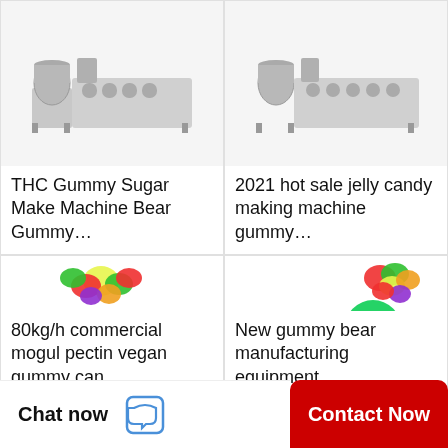[Figure (photo): THC Gummy sugar make machine / bear gummy machine product image - top cropped view]
[Figure (photo): 2021 hot sale jelly candy making machine gummy product image - top cropped view]
THC Gummy Sugar Make Machine Bear Gummy…
2021 hot sale jelly candy making machine gummy…
[Figure (photo): 80kg/h commercial mogul pectin vegan gummy candy machine with gummy bears]
[Figure (photo): New gummy bear manufacturing equipment with gummy bears and WhatsApp Online badge]
80kg/h commercial mogul pectin vegan gummy can…
New gummy bear manufacturing equipment…
Chat now
Contact Now